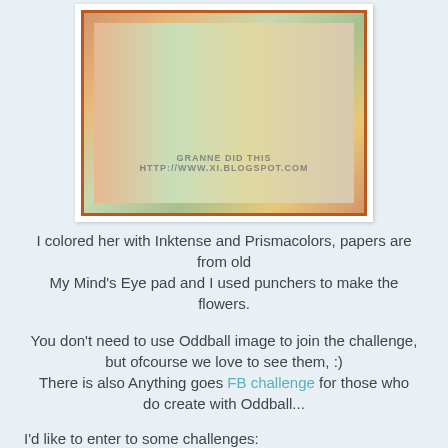[Figure (photo): A handmade craft card featuring a girl figure in orange dress with decorative flowers made from punchers, patterned papers, and the watermark 'GRANNE DID THIS http://www.xi.blogspot.com']
I colored her with Inktense and Prismacolors, papers are from old My Mind's Eye pad and I used punchers to make the flowers.
You don't need to use Oddball image to join the challenge, but ofcourse we love to see them, :) There is also Anything goes FB challenge for those who do create with Oddball...
I'd like to enter to some challenges:
Penny's - AG
Simply Papercraft - AG